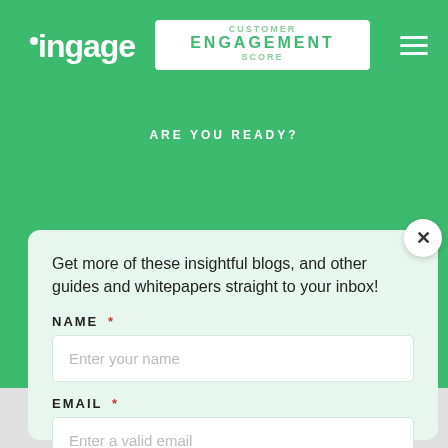[Figure (screenshot): Ingage website header with green background showing logo, navigation button with CUSTOMER ENGAGEMENT SCORE text, and hamburger menu icon]
ARE YOU READY?
Get more of these insightful blogs, and other guides and whitepapers straight to your inbox!
NAME *
Enter your name
EMAIL *
Enter a valid email
Subscribe
No spam ever. You can unsubscribe at any time.